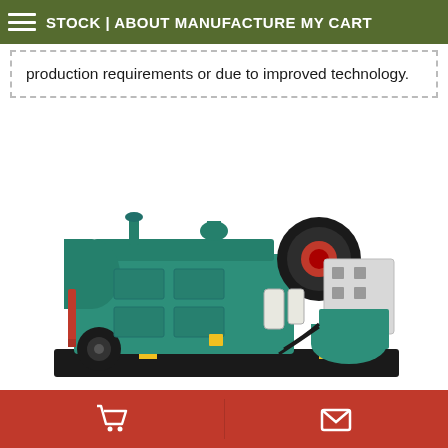STOCK | ABOUT MANUFACTURE MY CART
production requirements or due to improved technology.
[Figure (photo): Industrial diesel generator set with teal/green engine block, red pulley fan, white alternator housing, mounted on black base frame — product photo on white background]
Cart and Contact icons